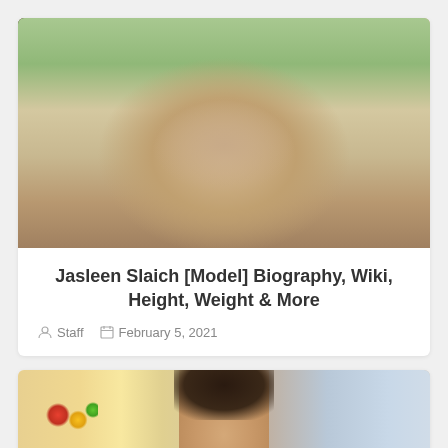[Figure (photo): Close-up photo of Jasleen Slaich, a woman with dark curly/wavy hair, shot outdoors with blurred green/beige background]
Jasleen Slaich [Model] Biography, Wiki, Height, Weight & More
Staff   February 5, 2021
[Figure (photo): Partial photo showing top of a person's head with dark hair pulled up, background includes kitchen/refrigerator elements and pink wall]